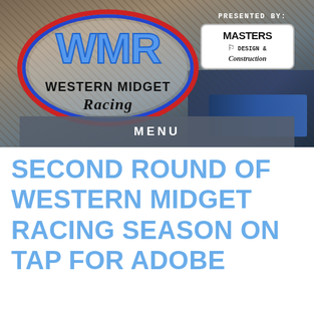[Figure (logo): Western Midget Racing (WMR) logo — blue letters WMR inside a white-glowing oval with red and blue outlines, text 'WESTERN MIDGET Racing' below, on a dirt track background. 'PRESENTED BY: Masters Design & Construction' sponsor box in top right.]
MENU
SECOND ROUND OF WESTERN MIDGET RACING SEASON ON TAP FOR ADOBE